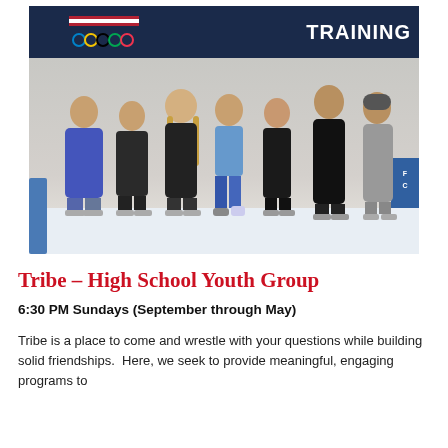[Figure (photo): Group of seven young people (high school age) posing together on an ice skating rink, smiling at the camera. They are dressed in winter casual clothing. Behind them is a dark banner with the Olympic rings logo and the word TRAINING. There is a blue sign on the right side of the rink.]
Tribe – High School Youth Group
6:30 PM Sundays (September through May)
Tribe is a place to come and wrestle with your questions while building solid friendships. Here, we seek to provide meaningful, engaging programs to